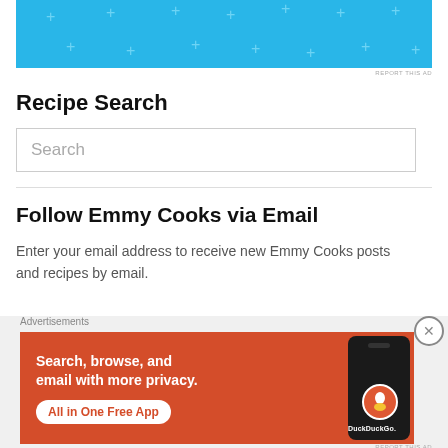[Figure (other): Blue advertisement banner with light cross/plus symbols pattern]
REPORT THIS AD
Recipe Search
[Figure (other): Search input box with placeholder text 'Search']
Follow Emmy Cooks via Email
Enter your email address to receive new Emmy Cooks posts and recipes by email.
Advertisements
[Figure (other): DuckDuckGo advertisement on orange background: 'Search, browse, and email with more privacy. All in One Free App' with phone showing DuckDuckGo logo]